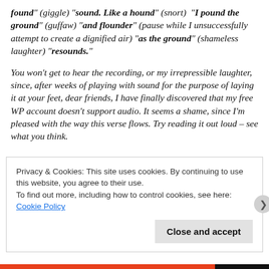found" (giggle) "sound. Like a hound" (snort) "I pound the ground" (guffaw) "and flounder" (pause while I unsuccessfully attempt to create a dignified air) "as the ground" (shameless laughter) "resounds."
You won’t get to hear the recording, or my irrepressible laughter, since, after weeks of playing with sound for the purpose of laying it at your feet, dear friends, I have finally discovered that my free WP account doesn’t support audio. It seems a shame, since I’m pleased with the way this verse flows. Try reading it out loud – see what you think.
Privacy & Cookies: This site uses cookies. By continuing to use this website, you agree to their use.
To find out more, including how to control cookies, see here: Cookie Policy